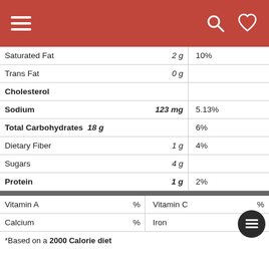Navigation header with hamburger menu, search and heart icons
| Nutrient | Amount | % Daily Value |
| --- | --- | --- |
| Saturated Fat | 2 g | 10% |
| Trans Fat | 0 g |  |
| Cholesterol |  |  |
| Sodium | 123 mg | 5.13% |
| Total Carbohydrates | 18 g | 6% |
| Dietary Fiber | 1 g | 4% |
| Sugars | 4 g |  |
| Protein | 1 g | 2% |
| Vitamin/Mineral | % DV | Vitamin/Mineral | % DV |
| --- | --- | --- | --- |
| Vitamin A | % | Vitamin C | % |
| Calcium | % | Iron |  |
*Based on a 2000 Calorie diet